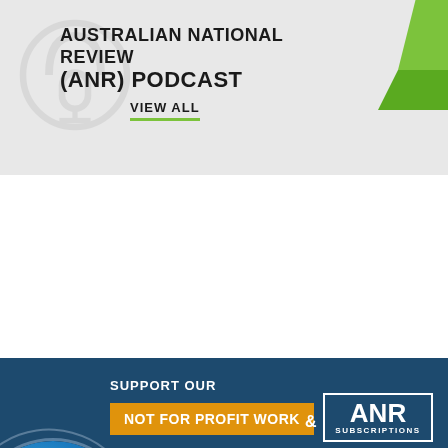[Figure (infographic): Australian National Review ANR Podcast banner with podcast microphone icon and green diamond shape]
AUSTRALIAN NATIONAL REVIEW (ANR) PODCAST
VIEW ALL
[Figure (infographic): ANR Subscriptions support banner on dark blue background with globe graphic]
SUPPORT OUR
NOT FOR PROFIT WORK
&
ANR SUBSCRIPTIONS
SUBSCRIBE NOW
ANR TV Access, 24 Hour Global Independent News Channel
All New Shows by ANR & Our Global Partners
Daily ANR News Emailer
Two eBooks and Other Reports
Access to a Special Telegram Thread